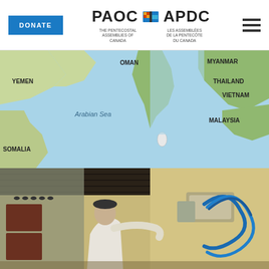DONATE | PAOC APDC - The Pentecostal Assemblies of Canada / Les Assemblées de la Pentecôte du Canada
[Figure (map): A world map showing the Indian Ocean region with labeled countries: OMAN, MYANMAR, YEMEN, THAILAND, VIETNAM, SOMALIA, MALAYSIA, and the Arabian Sea labeled. Sri Lanka is visible as a small island.]
[Figure (photo): A photograph of a person in a white shirt working on industrial equipment with blue hoses/pipes mounted on a yellow wall, inside what appears to be a building with a corrugated metal roof.]